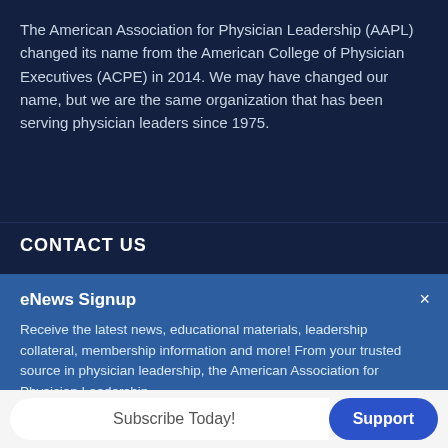The American Association for Physician Leadership (AAPL) changed its name from the American College of Physician Executives (ACPE) in 2014. We may have changed our name, but we are the same organization that has been serving physician leaders since 1975.
CONTACT US
eNews Signup
Receive the latest news, educational materials, leadership collateral, membership information and more! From your trusted source in physician leadership, the American Association for Physician Leadership.
Subscribe Today!
Support